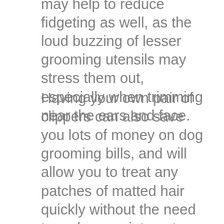may help to reduce fidgeting as well, as the loud buzzing of lesser grooming utensils may stress them out, especially when trimming near the ears and face.
Having your own pair of clippers can also save you lots of money on dog grooming bills, and will allow you to treat any patches of matted hair quickly without the need to make appointments and drive to and from the grooming parlor. It’s a great time saver and leaves you with more time for long walks and games of fetch in the park.